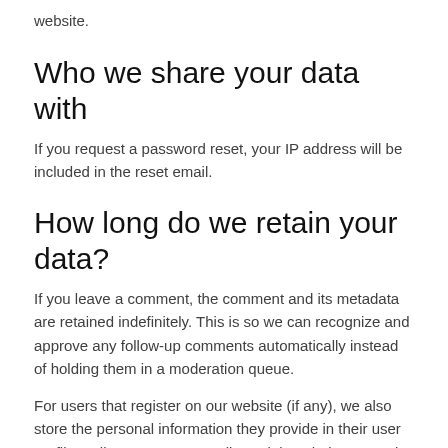website.
Who we share your data with
If you request a password reset, your IP address will be included in the reset email.
How long do we retain your data?
If you leave a comment, the comment and its metadata are retained indefinitely. This is so we can recognize and approve any follow-up comments automatically instead of holding them in a moderation queue.
For users that register on our website (if any), we also store the personal information they provide in their user profiles. All users can see, edit, or delete their personal information at any time (except they cannot change their username). Website administrators can also see and edit that information.